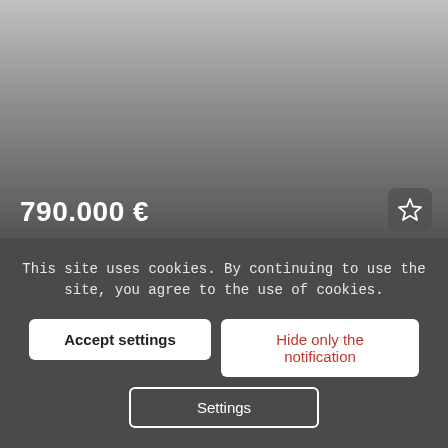[Figure (photo): Property listing image with dark gradient overlay showing price 790.000 € and a star/favorite button]
790.000 €
18.000 m² Natur pur in der Toskana
Cortona
10   18.000 m²   272
This site uses cookies. By continuing to use the site, you agree to the use of cookies.
Accept settings
Hide only the notification
Settings